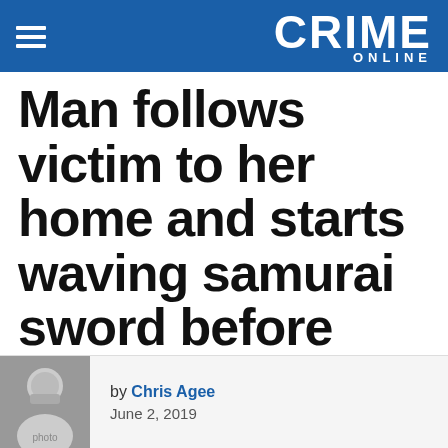CRIME ONLINE
Man follows victim to her home and starts waving samurai sword before fleeing to Kroger for a standoff with cops: Reports
by Chris Agee
June 2, 2019